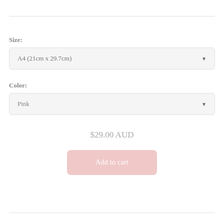Size:
[Figure (screenshot): Dropdown selector showing 'A4 (21cm x 29.7cm)' with a downward arrow]
Color:
[Figure (screenshot): Dropdown selector showing 'Pink' with a downward arrow]
$29.00 AUD
Add to cart